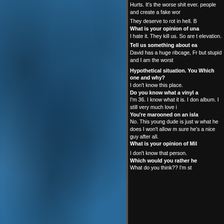[Figure (photo): Blue textured stone/concrete background on the left panel of the page]
Hurts. It's the worse shit ever. people and create a fake wor

They deserve to rot in hell. B
What is your opinion of una
I hate it. They kill us. So are t elevation.
Tell us something about ea
David has a huge ribcage, Fr but stupid and I am the worst

Hypothetical situation. You Which one and why?
I don't know this place.
Do you know what a vinyl a I'm 36. I know what it is. I don album. I still very much love i You're marooned on an isla No. This young dude is just w what he does I won't allow m sure he's a nice guy after all.
What is your opinion of Mil

I don't know that person.
Which would you rather he What do you think?? I'm st